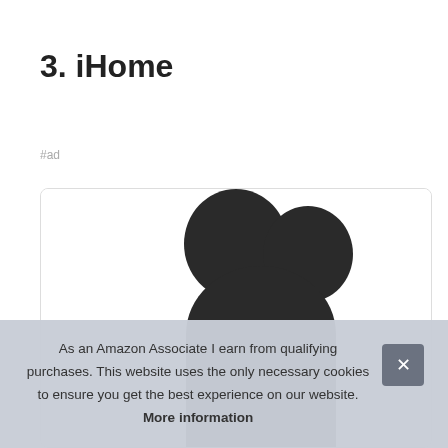3. iHome
#ad
[Figure (photo): Product image showing what appears to be Mickey Mouse ear headphones or a similar product, partially visible within a white card with rounded corners and a subtle border.]
As an Amazon Associate I earn from qualifying purchases. This website uses the only necessary cookies to ensure you get the best experience on our website. More information